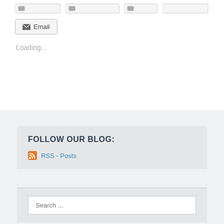[Figure (screenshot): Row of social share buttons (partially visible at top)]
Email
Loading...
FOLLOW OUR BLOG:
RSS - Posts
Search ...